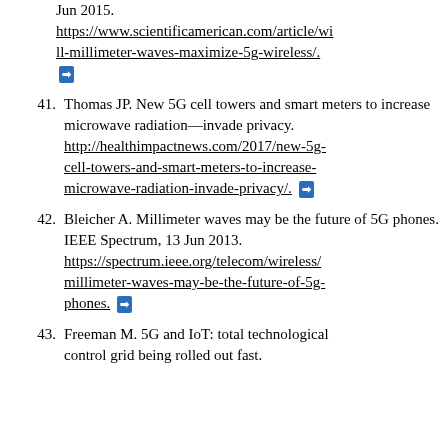(partial) Jun 2015. https://www.scientificamerican.com/article/will-millimeter-waves-maximize-5g-wireless/.
41. Thomas JP. New 5G cell towers and smart meters to increase microwave radiation—invade privacy. http://healthimpactnews.com/2017/new-5g-cell-towers-and-smart-meters-to-increase-microwave-radiation-invade-privacy/.
42. Bleicher A. Millimeter waves may be the future of 5G phones. IEEE Spectrum, 13 Jun 2013. https://spectrum.ieee.org/telecom/wireless/millimeter-waves-may-be-the-future-of-5g-phones.
43. Freeman M. 5G and IoT: total technological control grid being rolled out fast.